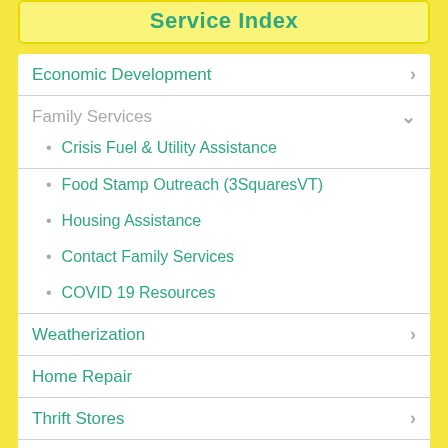Service Index
Economic Development
Family Services
Crisis Fuel & Utility Assistance
Food Stamp Outreach (3SquaresVT)
Housing Assistance
Contact Family Services
COVID 19 Resources
Weatherization
Home Repair
Thrift Stores
About Us
News	Events